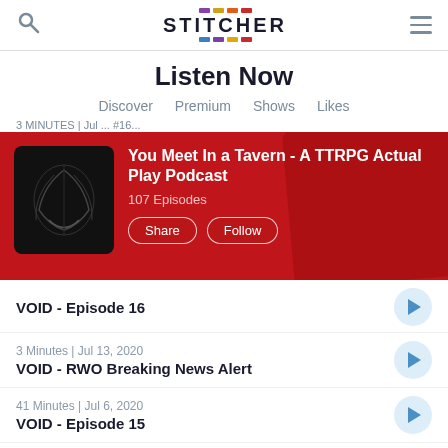Stitcher app header with search and menu icons
Listen Now
Discover  Premium  Shows  Likes
3 MINUTES | Jul ... #16...
[Figure (screenshot): Red banner showing 'You Meet In a Tavern - A TTRPG Actual Play Podcast' with 107 Episodes and Share/Follow buttons]
VOID - Episode 16
3 Minutes | Jul 13, 2020
VOID - RWO Breaking News Alert
41 Minutes | Jul 6, 2020
VOID - Episode 15
39 Minutes | Jun 23, 2020
VOID - Episode 14